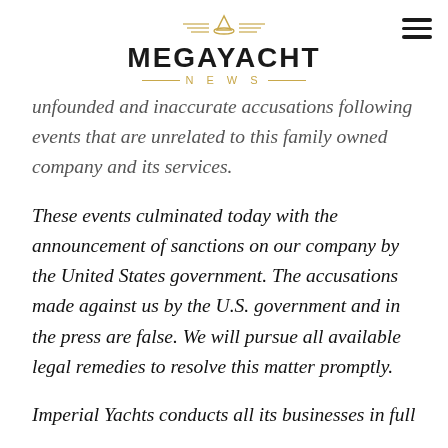MEGAYACHT NEWS
unfounded and inaccurate accusations following events that are unrelated to this family owned company and its services.
These events culminated today with the announcement of sanctions on our company by the United States government. The accusations made against us by the U.S. government and in the press are false. We will pursue all available legal remedies to resolve this matter promptly.
Imperial Yachts conducts all its businesses in full